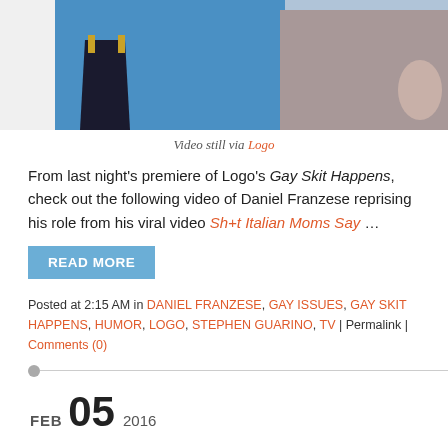[Figure (photo): Video still showing two people, one in blue shirt and one in gray, with a director's chair visible]
Video still via Logo
From last night's premiere of Logo's Gay Skit Happens, check out the following video of Daniel Franzese reprising his role from his viral video Sh+t Italian Moms Say …
READ MORE
Posted at 2:15 AM in DANIEL FRANZESE, GAY ISSUES, GAY SKIT HAPPENS, HUMOR, LOGO, STEPHEN GUARINO, TV | Permalink | Comments (0)
FEB 05 2016